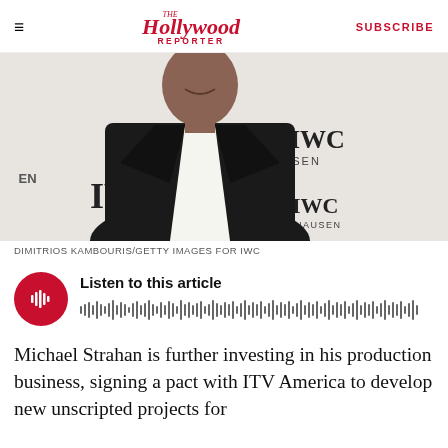The Hollywood Reporter | SUBSCRIBE
[Figure (photo): Man in black blazer and open white shirt at an IWC Schaffhausen event, smiling, against a branded backdrop]
DIMITRIOS KAMBOURIS/GETTY IMAGES FOR IWC
[Figure (other): Audio player widget with red circular play button and waveform visualization, labeled 'Listen to this article']
Michael Strahan is further investing in his production business, signing a pact with ITV America to develop new unscripted projects for